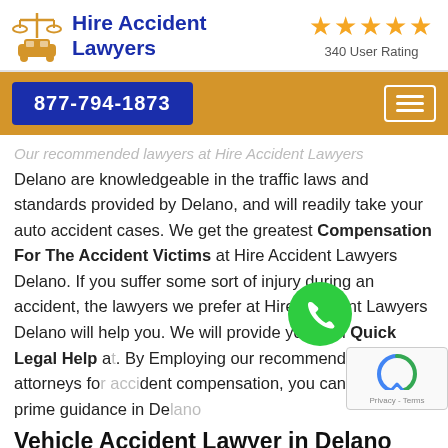[Figure (logo): Hire Accident Lawyers logo with scales of justice and car icon in gold/orange, company name in dark blue]
[Figure (infographic): Five gold stars rating with '340 User Rating' text below]
877-794-1873
Our recommended lawyers at Hire Accident Lawyers Delano are knowledgeable in the traffic laws and standards provided by Delano, and will readily take your auto accident cases. We get the greatest Compensation For The Accident Victims at Hire Accident Lawyers Delano. If you suffer some sort of injury during an accident, the lawyers we prefer at Hire Accident Lawyers Delano will help you. We will provide you with Quick Legal Help a[t]. By Employing our recommended attorneys for accident compensation, you can get the prime guidance in De[lano].
Vehicle Accident Lawyer in Delano
In cases of vehicle accidents, the laws must be